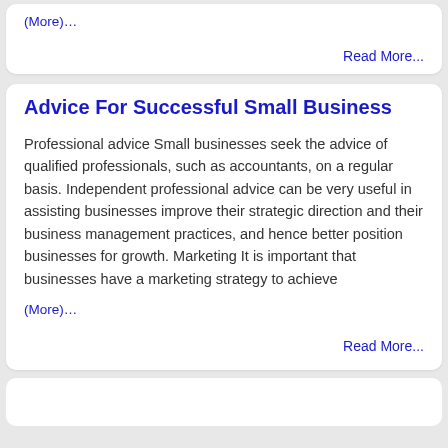(More)…
Read More...
Advice For Successful Small Business
Professional advice Small businesses seek the advice of qualified professionals, such as accountants, on a regular basis. Independent professional advice can be very useful in assisting businesses improve their strategic direction and their business management practices, and hence better position businesses for growth. Marketing It is important that businesses have a marketing strategy to achieve
(More)…
Read More...